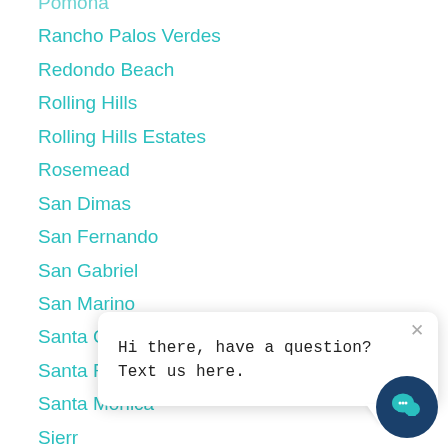Pomona
Rancho Palos Verdes
Redondo Beach
Rolling Hills
Rolling Hills Estates
Rosemead
San Dimas
San Fernando
San Gabriel
San Marino
Santa Clarita
Santa Fe Springs
Santa Monica
Sierra (partially visible)
Signal (partially visible)
South (partially visible)
South Gate (partially visible)
Hi there, have a question? Text us here.